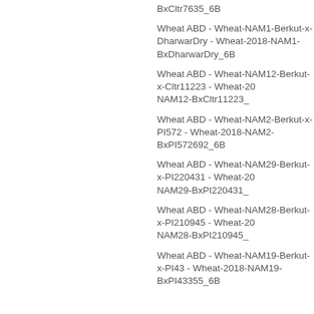BxCltr7635_6B
Wheat ABD - Wheat-NAM1-Berkut-x-DharwarDry - Wheat-2018-NAM1-BxDharwarDry_6B
Wheat ABD - Wheat-NAM12-Berkut-x-Cltr11223 - Wheat-2018-NAM12-BxCltr11223_
Wheat ABD - Wheat-NAM2-Berkut-x-PI572 - Wheat-2018-NAM2-BxPI572692_6B
Wheat ABD - Wheat-NAM29-Berkut-x-PI220431 - Wheat-2018-NAM29-BxPI220431_
Wheat ABD - Wheat-NAM28-Berkut-x-PI210945 - Wheat-2018-NAM28-BxPI210945_
Wheat ABD - Wheat-NAM19-Berkut-x-PI43 - Wheat-2018-NAM19-BxPI43355_6B